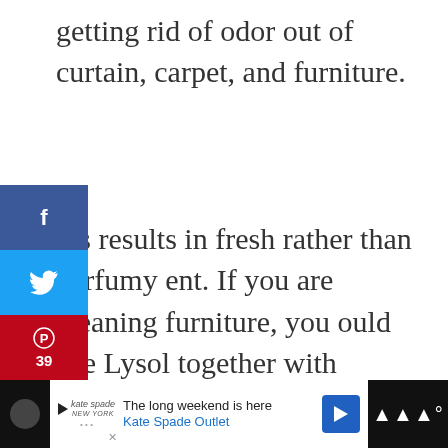getting rid of odor out of curtain, carpet, and furniture.
his results in fresh rather than perfumy ent. If you are cleaning furniture, you ould use Lysol together with Febreze.
ebreze masks the scent while Lysol ls bacteria and germs causing the odors. This way, you get a long-lasting fresh scent.
[Figure (infographic): Social media sharing sidebar with Facebook (f), Twitter (bird), Pinterest (P with count 39), heart icon (2), and email icon]
[Figure (infographic): Right side floating widget with heart icon (41) and share icon]
[Figure (infographic): Bottom advertisement bar: Kate Spade Outlet - The long weekend is here]
[Figure (infographic): What's Next widget showing Easily Distress A... with thumbnail]